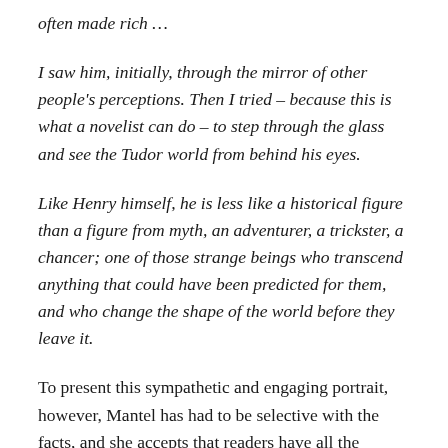often made rich …
I saw him, initially, through the mirror of other people's perceptions. Then I tried – because this is what a novelist can do – to step through the glass and see the Tudor world from behind his eyes.
Like Henry himself, he is less like a historical figure than a figure from myth, an adventurer, a trickster, a chancer; one of those strange beings who transcend anything that could have been predicted for them, and who change the shape of the world before they leave it.
To present this sympathetic and engaging portrait, however, Mantel has had to be selective with the facts, and she accepts that readers have all the